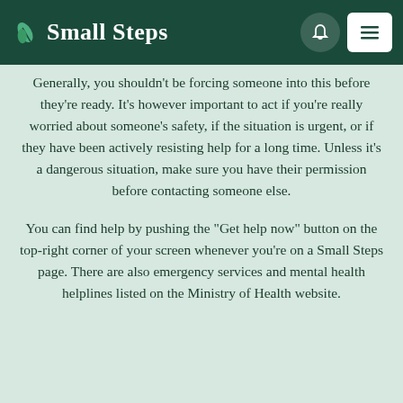Small Steps
Generally, you shouldn’t be forcing someone into this before they’re ready. It’s however important to act if you’re really worried about someone’s safety, if the situation is urgent, or if they have been actively resisting help for a long time. Unless it’s a dangerous situation, make sure you have their permission before contacting someone else.
You can find help by pushing the “Get help now” button on the top-right corner of your screen whenever you’re on a Small Steps page. There are also emergency services and mental health helplines listed on the Ministry of Health website.